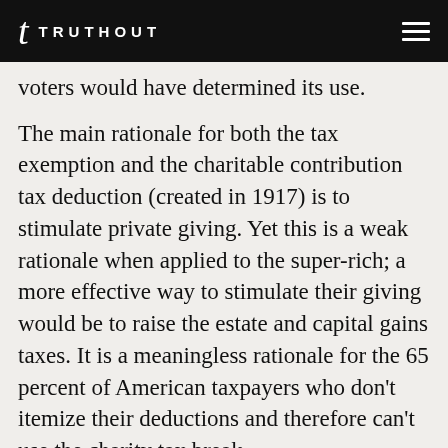TRUTHOUT
voters would have determined its use.
The main rationale for both the tax exemption and the charitable contribution tax deduction (created in 1917) is to stimulate private giving. Yet this is a weak rationale when applied to the super-rich; a more effective way to stimulate their giving would be to raise the estate and capital gains taxes. It is a meaningless rationale for the 65 percent of American taxpayers who don't itemize their deductions and therefore can't use the charity tax break.